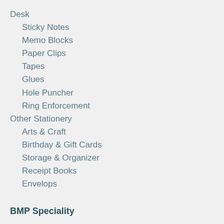Desk
Sticky Notes
Memo Blocks
Paper Clips
Tapes
Glues
Hole Puncher
Ring Enforcement
Other Stationery
Arts & Craft
Birthday & Gift Cards
Storage & Organizer
Receipt Books
Envelops
BMP Speciality